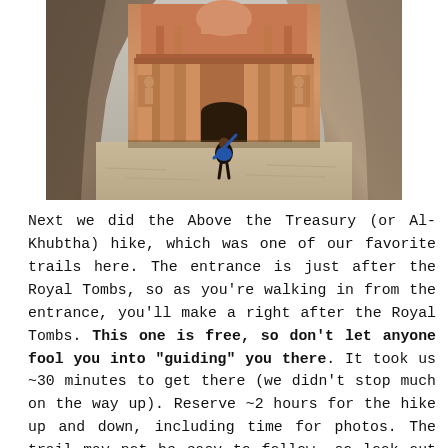[Figure (photo): A person standing with one arm raised in front of the Treasury (Al-Khazneh) at Petra, Jordan. The large ornate rose-red rock-cut facade with columns and carved details fills the background, flanked by canyon walls.]
Next we did the Above the Treasury (or Al-Khubtha) hike, which was one of our favorite trails here. The entrance is just after the Royal Tombs, so as you're walking in from the entrance, you'll make a right after the Royal Tombs. This one is free, so don't let anyone fool you into "guiding" you there. It took us ~30 minutes to get there (we didn't stop much on the way up). Reserve ~2 hours for the hike up and down, including time for photos. The trail may not be easy to follow, so look out for cairns / stacked